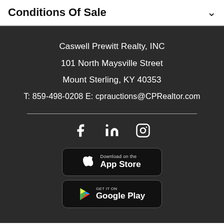Conditions Of Sale
Caswell Prewitt Realty, INC
101 North Maysville Street
Mount Sterling, KY 40353
T: 859-498-0208 E: cprauctions@CPRealtor.com
[Figure (infographic): Social media icons: Facebook, LinkedIn, Instagram]
[Figure (screenshot): Download on the App Store button]
[Figure (screenshot): Get it on Google Play button]